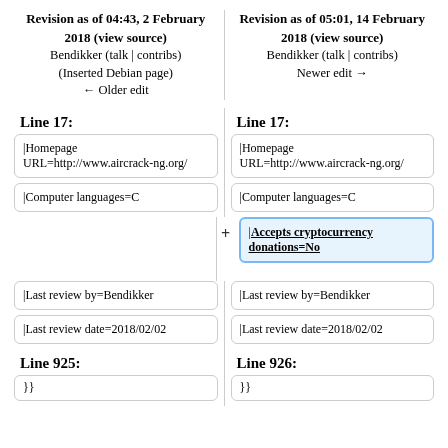Revision as of 04:43, 2 February 2018 (view source)
Bendikker (talk | contribs)
(Inserted Debian page)
← Older edit
Revision as of 05:01, 14 February 2018 (view source)
Bendikker (talk | contribs)
Newer edit →
Line 17:
Line 17:
|Homepage URL=http://www.aircrack-ng.org/
|Homepage URL=http://www.aircrack-ng.org/
|Computer languages=C
|Computer languages=C
|Accepts cryptocurrency donations=No
|Last review by=Bendikker
|Last review by=Bendikker
|Last review date=2018/02/02
|Last review date=2018/02/02
Line 925:
Line 926: